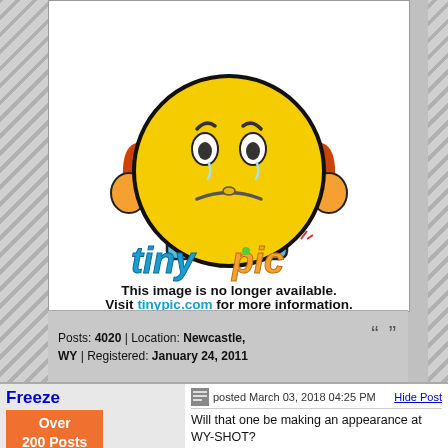[Figure (illustration): TinyPic 'image no longer available' placeholder showing a sad yellow emoji character with headphones, blue feet, and the tinypic logo. Text reads: 'This image is no longer available. Visit tinypic.com for more information.']
Posts: 4020 | Location: Newcastle, WY | Registered: January 24, 2011
Freeze
Over 200 Posts
posted March 03, 2018 04:25 PM
Hide Post
Will that one be making an appearance at WY-SHOT?